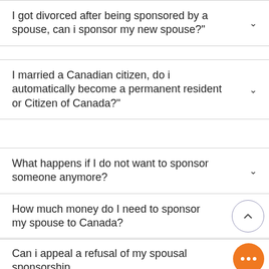I got divorced after being sponsored by a spouse, can i sponsor my new spouse?"
I married a Canadian citizen, do i automatically become a permanent resident or Citizen of Canada?"
What happens if I do not want to sponsor someone anymore?
How much money do I need to sponsor my spouse to Canada?
Can i appeal a refusal of my spousal sponsorship